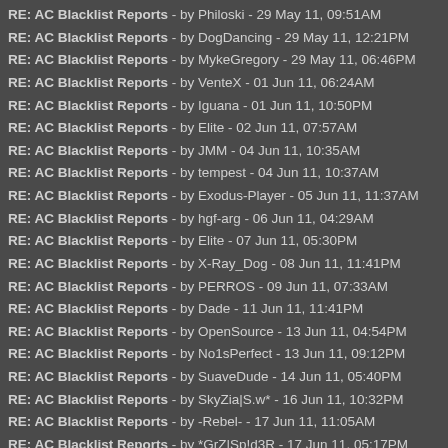RE: AC Blacklist Reports - by Philoski - 29 May 11, 09:51AM
RE: AC Blacklist Reports - by DogDancing - 29 May 11, 12:21PM
RE: AC Blacklist Reports - by MykeGregory - 29 May 11, 06:46PM
RE: AC Blacklist Reports - by VenteX - 01 Jun 11, 06:24AM
RE: AC Blacklist Reports - by Iguana - 01 Jun 11, 10:50PM
RE: AC Blacklist Reports - by Elite - 02 Jun 11, 07:57AM
RE: AC Blacklist Reports - by JMM - 04 Jun 11, 10:35AM
RE: AC Blacklist Reports - by tempest - 04 Jun 11, 10:37AM
RE: AC Blacklist Reports - by Exodus-Player - 05 Jun 11, 11:37AM
RE: AC Blacklist Reports - by hgf-arg - 06 Jun 11, 04:29AM
RE: AC Blacklist Reports - by Elite - 07 Jun 11, 05:30PM
RE: AC Blacklist Reports - by X-Ray_Dog - 08 Jun 11, 11:41PM
RE: AC Blacklist Reports - by PERROS - 09 Jun 11, 07:33AM
RE: AC Blacklist Reports - by Dade - 11 Jun 11, 11:41PM
RE: AC Blacklist Reports - by OpenSource - 13 Jun 11, 04:54PM
RE: AC Blacklist Reports - by No1sPerfect - 13 Jun 11, 09:12PM
RE: AC Blacklist Reports - by SuaveDude - 14 Jun 11, 05:40PM
RE: AC Blacklist Reports - by SkyZia|S.w* - 16 Jun 11, 10:32PM
RE: AC Blacklist Reports - by -Rebel- - 17 Jun 11, 11:05AM
RE: AC Blacklist Reports - by *GrZ|Sp!d3R - 17 Jun 11, 05:17PM
RE: AC Blacklist Reports - by ET (Brazil) - 19 Jun 11, 01:12AM
RE: AC Blacklist Reports - by Milandrag - 19 Jun 11, 01:45PM
RE: AC Blacklist Reports - by |HP| - 24 Jun 11, 02:33PM (indented)
RE: AC Blacklist Reports - by No1sPerfect - 19 Jun 11, 08:13PM
RE: AC Blacklist Reports - by jamz - 21 Jun 11, 12:25AM